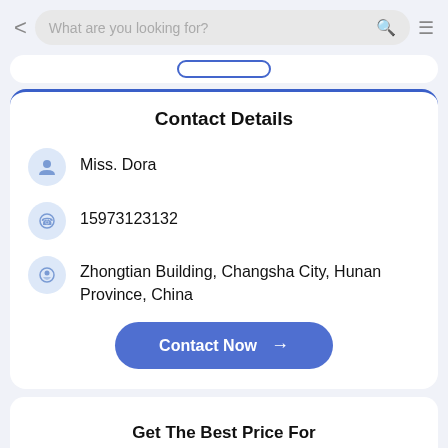< What are you looking for? 🔍 ≡
Contact Details
Miss. Dora
15973123132
Zhongtian Building, Changsha City, Hunan Province, China
Contact Now →
Get The Best Price For